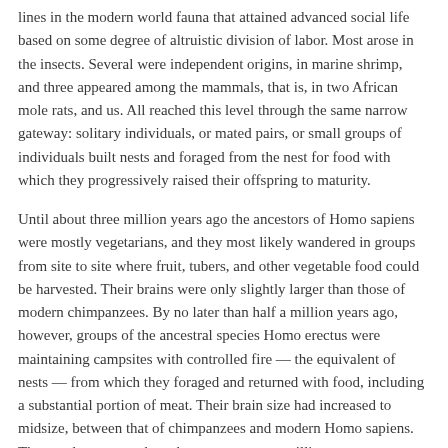lines in the modern world fauna that attained advanced social life based on some degree of altruistic division of labor. Most arose in the insects. Several were independent origins, in marine shrimp, and three appeared among the mammals, that is, in two African mole rats, and us. All reached this level through the same narrow gateway: solitary individuals, or mated pairs, or small groups of individuals built nests and foraged from the nest for food with which they progressively raised their offspring to maturity.
Until about three million years ago the ancestors of Homo sapiens were mostly vegetarians, and they most likely wandered in groups from site to site where fruit, tubers, and other vegetable food could be harvested. Their brains were only slightly larger than those of modern chimpanzees. By no later than half a million years ago, however, groups of the ancestral species Homo erectus were maintaining campsites with controlled fire — the equivalent of nests — from which they foraged and returned with food, including a substantial portion of meat. Their brain size had increased to midsize, between that of chimpanzees and modern Homo sapiens. The trend appears to have begun one to two million years previously, when the earlier prehuman ancestor Homo habilis turned increasingly to meat in its diet. With groups crowded together at a single site, and an advantage added by cooperative nest building and hunting, social intelligence grew, along with the centers of memory and reasoning in the prefrontal cortex.